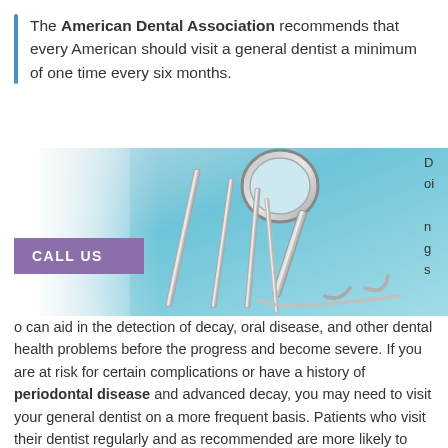The American Dental Association recommends that every American should visit a general dentist a minimum of one time every six months.
[Figure (photo): Photograph of dental tools/instruments (mirror, explorers, scalers) on a light blue background, with a purple 'CALL US' button overlay on the left side.]
o can aid in the detection of decay, oral disease, and other dental health problems before the progress and become severe. If you are at risk for certain complications or have a history of periodontal disease and advanced decay, you may need to visit your general dentist on a more frequent basis. Patients who visit their dentist regularly and as recommended are more likely to retain their natural teeth and enjoy a lifetime of good oral health.